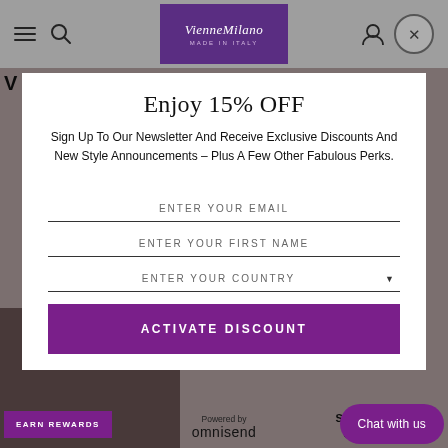VienneMilano - Made in Italy
Enjoy 15% OFF
Sign Up To Our Newsletter And Receive Exclusive Discounts And New Style Announcements – Plus A Few Other Fabulous Perks.
ENTER YOUR EMAIL
ENTER YOUR FIRST NAME
ENTER YOUR COUNTRY
ACTIVATE DISCOUNT
EARN REWARDS
Powered by omnisend
Chat with us
STOCKINGS FOR GARTER BELTS